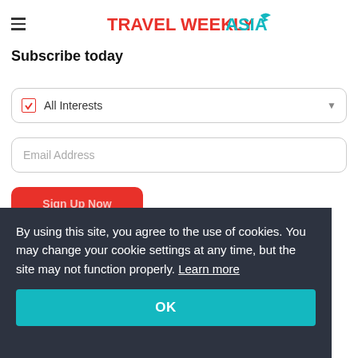Travel Weekly Asia
Subscribe today
All Interests
Email Address
Sign Up Now
By using this site, you agree to the use of cookies. You may change your cookie settings at any time, but the site may not function properly. Learn more
OK